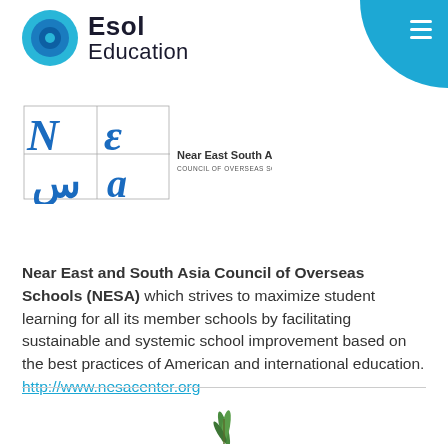[Figure (logo): Esol Education logo with blue circular icon and text 'Esol Education']
[Figure (logo): Near East South Asia Council of Overseas Schools (NESA) logo with stylized letters]
Near East and South Asia Council of Overseas Schools (NESA) which strives to maximize student learning for all its member schools by facilitating sustainable and systemic school improvement based on the best practices of American and international education. http://www.nesacenter.org
[Figure (illustration): Green plant illustration at bottom center of page]